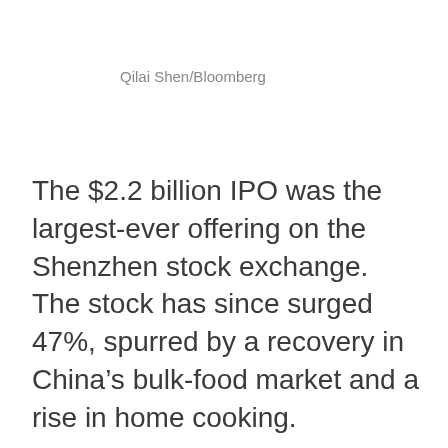Qilai Shen/Bloomberg
The $2.2 billion IPO was the largest-ever offering on the Shenzhen stock exchange. The stock has since surged 47%, spurred by a recovery in China’s bulk-food market and a rise in home cooking.